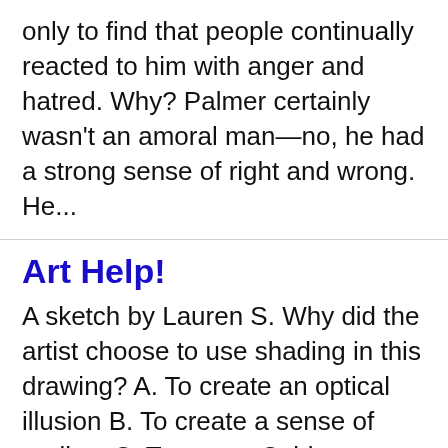only to find that people continually reacted to him with anger and hatred. Why? Palmer certainly wasn’t an amoral man—no, he had a strong sense of right and wrong. He...
Art Help!
A sketch by Lauren S. Why did the artist choose to use shading in this drawing? A. To create an optical illusion B. To create a sense of realism C. To create Cubist drawing D. To create a sense of Imperssonism It is a drawing of a women that is laughing...
English help
Identify the complete predicate in the sentence